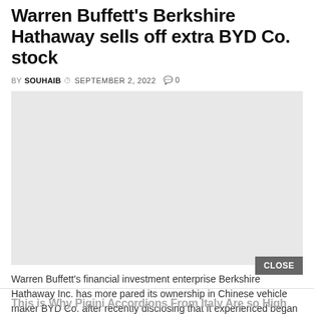Warren Buffett's Berkshire Hathaway sells off extra BYD Co. stock
BY SOUHAIB  ⏱ SEPTEMBER 2, 2022  💬 0
[Figure (photo): Light gray placeholder image for article]
Warren Buffett's financial investment enterprise Berkshire Hathaway Inc. has more pared its ownership in Chinese vehicle maker BYD Co. after recently disclosing that it experienced began providing some...
This is Why Pigini Accordions From Italy Are so High